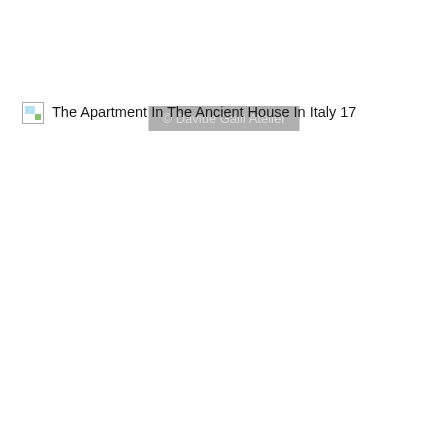[Figure (other): Watermark overlay reading '© Davide Galli Atelier' on a grey semi-transparent background]
[Figure (photo): Broken image placeholder for 'The Apartment In The Ancient House In Italy 17']
The Apartment In The Ancient House In Italy 17